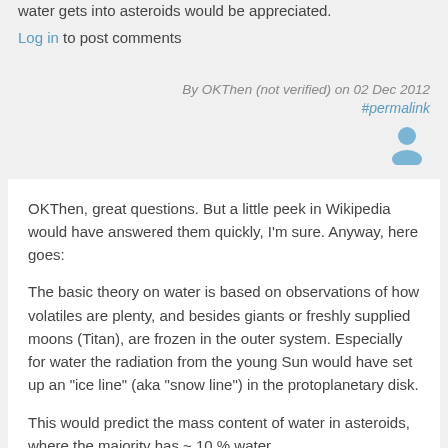water gets into asteroids would be appreciated.
Log in to post comments
By OKThen (not verified) on 02 Dec 2012
#permalink
[Figure (illustration): User avatar icon, blue silhouette of a person]
OKThen, great questions. But a little peek in Wikipedia would have answered them quickly, I'm sure. Anyway, here goes:
The basic theory on water is based on observations of how volatiles are plenty, and besides giants or freshly supplied moons (Titan), are frozen in the outer system. Especially for water the radiation from the young Sun would have set up an "ice line" (aka "snow line") in the protoplanetary disk.
This would predict the mass content of water in asteroids, where the majority has ~ 10 % water